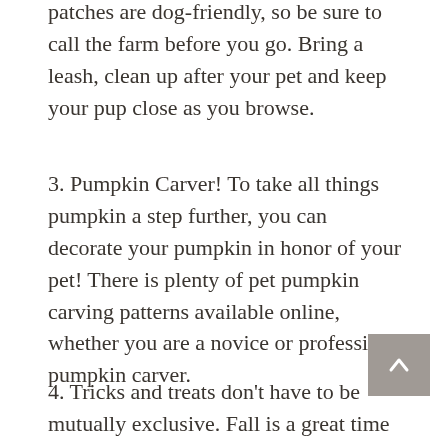patches are dog-friendly, so be sure to call the farm before you go. Bring a leash, clean up after your pet and keep your pup close as you browse.
3. Pumpkin Carver! To take all things pumpkin a step further, you can decorate your pumpkin in honor of your pet! There is plenty of pet pumpkin carving patterns available online, whether you are a novice or professional pumpkin carver.
4. Tricks and treats don't have to be mutually exclusive. Fall is a great time of year to brush up on your pet's repertoire and a great